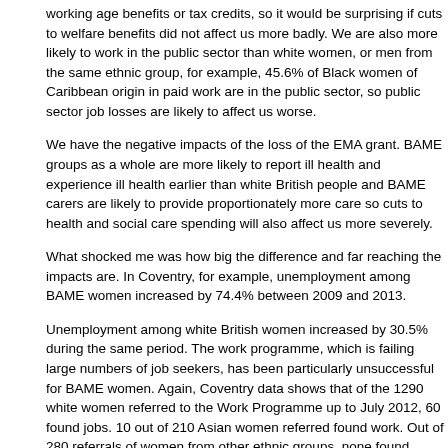working age benefits or tax credits, so it would be surprising if cuts to welfare benefits did not affect us more badly. We are also more likely to work in the public sector than white women, or men from the same ethnic group, for example, 45.6% of Black women of Caribbean origin in paid work are in the public sector, so public sector job losses are likely to affect us worse.
We have the negative impacts of the loss of the EMA grant. BAME groups as a whole are more likely to report ill health and experience ill health earlier than white British people and BAME carers are likely to provide proportionately more care so cuts to health and social care spending will also affect us more severely.
What shocked me was how big the difference and far reaching the impacts are. In Coventry, for example, unemployment among BAME women increased by 74.4% between 2009 and 2013.
Unemployment among white British women increased by 30.5% during the same period. The work programme, which is failing large numbers of job seekers, has been particularly unsuccessful for BAME women. Again, Coventry data shows that of the 1290 white women referred to the Work Programme up to July 2012, 60 found jobs. 10 out of 210 Asian women referred found work. Out of 280 referrals of women from other ethnic groups, none found work.